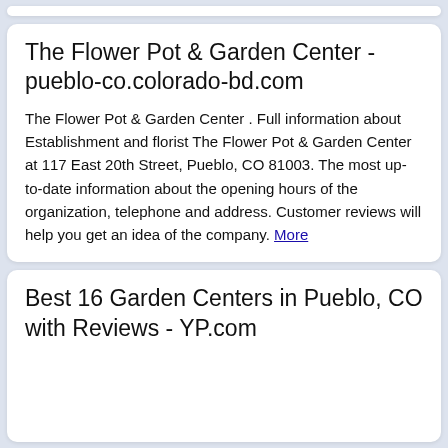The Flower Pot & Garden Center - pueblo-co.colorado-bd.com
The Flower Pot & Garden Center . Full information about Establishment and florist The Flower Pot & Garden Center at 117 East 20th Street, Pueblo, CO 81003. The most up-to-date information about the opening hours of the organization, telephone and address. Customer reviews will help you get an idea of the company. More
Best 16 Garden Centers in Pueblo, CO with Reviews - YP.com